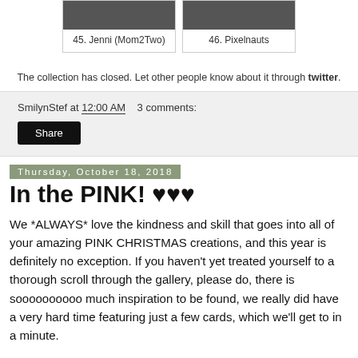45. Jenni (Mom2Two)
46. Pixelnauts
The collection has closed. Let other people know about it through twitter.
SmilynStef at 12:00 AM   3 comments:
Share
Thursday, October 18, 2018
In the PINK! ♥♥♥
We *ALWAYS* love the kindness and skill that goes into all of your amazing PINK CHRISTMAS creations, and this year is definitely no exception. If you haven't yet treated yourself to a thorough scroll through the gallery, please do, there is soooooooooo much inspiration to be found, we really did have a very hard time featuring just a few cards, which we'll get to in a minute.